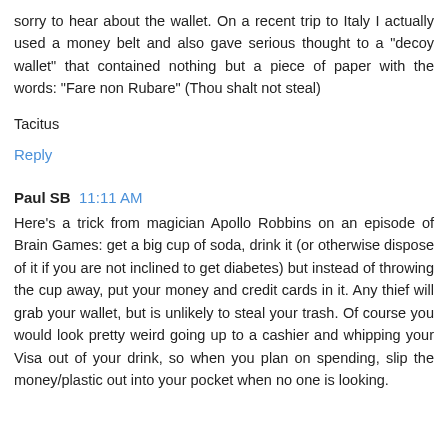sorry to hear about the wallet. On a recent trip to Italy I actually used a money belt and also gave serious thought to a "decoy wallet" that contained nothing but a piece of paper with the words: "Fare non Rubare" (Thou shalt not steal)
Tacitus
Reply
Paul SB  11:11 AM
Here's a trick from magician Apollo Robbins on an episode of Brain Games: get a big cup of soda, drink it (or otherwise dispose of it if you are not inclined to get diabetes) but instead of throwing the cup away, put your money and credit cards in it. Any thief will grab your wallet, but is unlikely to steal your trash. Of course you would look pretty weird going up to a cashier and whipping your Visa out of your drink, so when you plan on spending, slip the money/plastic out into your pocket when no one is looking.